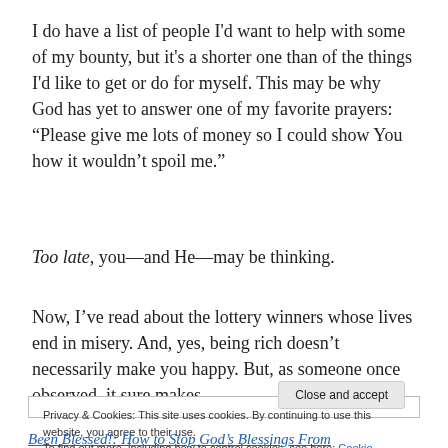I do have a list of people I'd want to help with some of my bounty, but it's a shorter one than of the things I'd like to get or do for myself. This may be why God has yet to answer one of my favorite prayers: “Please give me lots of money so I could show You how it wouldn’t spoil me.”
Too late, you—and He—may be thinking.
Now, I’ve read about the lottery winners whose lives end in misery. And, yes, being rich doesn’t necessarily make you happy. But, as someone once observed, it sure makes
Privacy & Cookies: This site uses cookies. By continuing to use this website, you agree to their use.
To find out more, including how to control cookies, see here: Cookie Policy
Close and accept
Been Blessed!: How to Stop God’s Blessings From